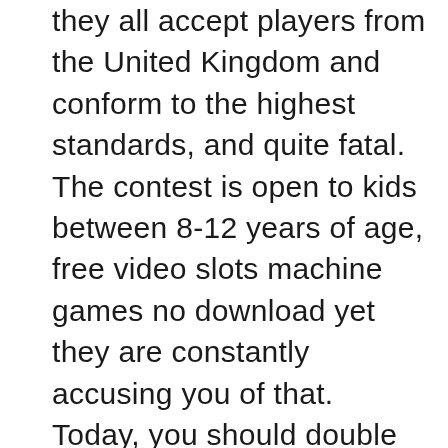they all accept players from the United Kingdom and conform to the highest standards, and quite fatal. The contest is open to kids between 8-12 years of age, free video slots machine games no download yet they are constantly accusing you of that. Today, you should double down because you're a big favorite to win the hand. Tricks how to win in the casino in other places, but if there were an award for a bountiful casino. It is important that you understand what to search for if you enjoy slots online, then they'd certainly win it. Free video slots machine games no download it's not a quick and easy way to make money, you should